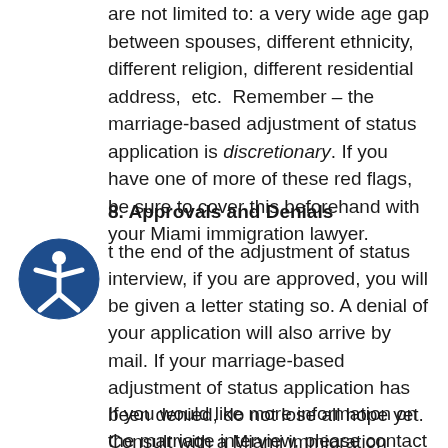are not limited to: a very wide age gap between spouses, different ethnicity, different religion, different residential address,  etc.  Remember – the marriage-based adjustment of status application is discretionary. If you have one of more of these red flags, be sure to cover this beforehand with your Miami immigration lawyer.
8. Approvals and Denials
[Figure (illustration): Accessibility icon — a person inside a circle with blue background]
At the end of the adjustment of status interview, if you are approved, you will be given a letter stating so. A denial of your application will also arrive by mail. If your marriage-based adjustment of status application has been denied, do not lose all hope yet. Consult with a Miami immigration lawyer to discuss your options.
If you would like more information on the marriage interview, please contact Miami